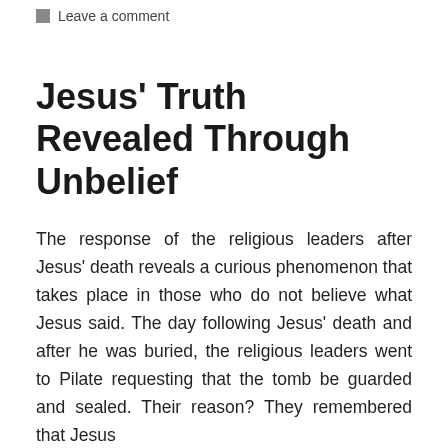Leave a comment
Jesus’ Truth Revealed Through Unbelief
The response of the religious leaders after Jesus’ death reveals a curious phenomenon that takes place in those who do not believe what Jesus said. The day following Jesus’ death and after he was buried, the religious leaders went to Pilate requesting that the tomb be guarded and sealed. Their reason? They remembered that Jesus